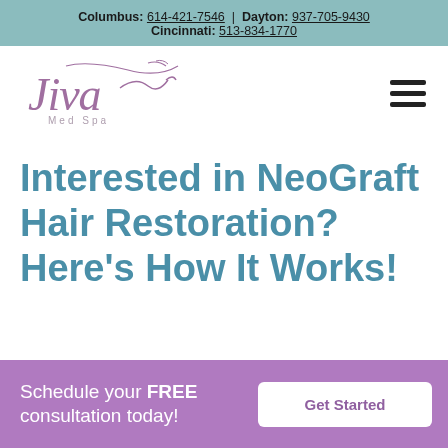Columbus: 614-421-7546 | Dayton: 937-705-9430 Cincinnati: 513-834-1770
[Figure (logo): Jiva Med Spa logo in purple italic script with decorative flourishes and 'Med Spa' text underneath]
Interested in NeoGraft Hair Restoration? Here's How It Works!
Schedule your FREE consultation today!
Get Started